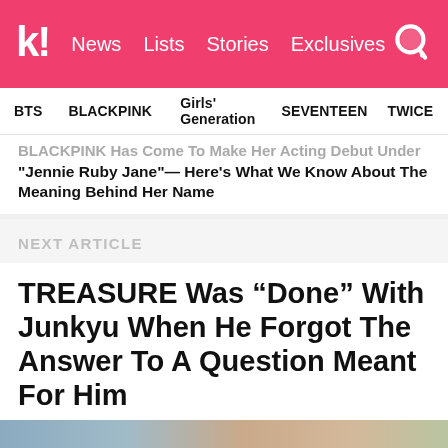k! News Lists Stories Exclusives
BTS   BLACKPINK   Girls' Generation   SEVENTEEN   TWICE
BLACKPINK Has Come To Make Her Acting Debut Under "Jennie Ruby Jane"— Here's What We Know About The Meaning Behind Her Name
NEXT ARTICLE
TREASURE Was “Done” With Junkyu When He Forgot The Answer To A Question Meant For Him
Junkyu was supposed to know it best!